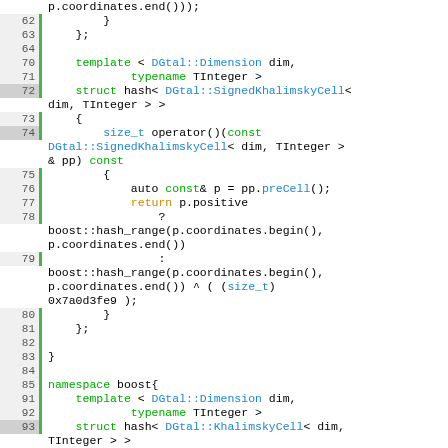[Figure (screenshot): Source code listing showing C++ template specializations for std::hash of DGtal::SignedKhalimskyCell and DGtal::KhalimskyCell, with line numbers 62-95 visible, syntax highlighted in green, blue, and orange on white background.]